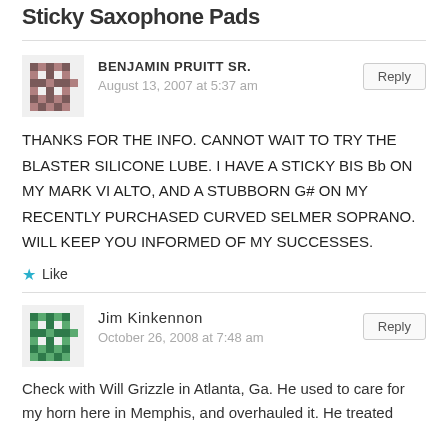Sticky Saxophone Pads
BENJAMIN PRUITT SR.
August 13, 2007 at 5:37 am
THANKS FOR THE INFO. CANNOT WAIT TO TRY THE BLASTER SILICONE LUBE. I HAVE A STICKY BIS Bb ON MY MARK VI ALTO, AND A STUBBORN G# ON MY RECENTLY PURCHASED CURVED SELMER SOPRANO. WILL KEEP YOU INFORMED OF MY SUCCESSES.
Like
Jim Kinkennon
October 26, 2008 at 7:48 am
Check with Will Grizzle in Atlanta, Ga. He used to care for my horn here in Memphis, and overhauled it. He treated